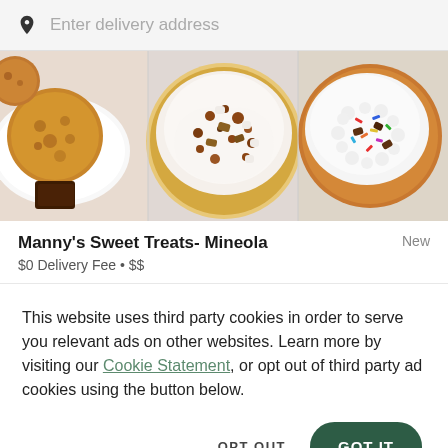Enter delivery address
[Figure (photo): Overhead photo of assorted cookies and sweet treats on a white background: chocolate chip cookies, frosted cookies with toppings, and sprinkle-covered cookies]
Manny's Sweet Treats- Mineola
New
$0 Delivery Fee • $$
This website uses third party cookies in order to serve you relevant ads on other websites. Learn more by visiting our Cookie Statement, or opt out of third party ad cookies using the button below.
OPT OUT
GOT IT